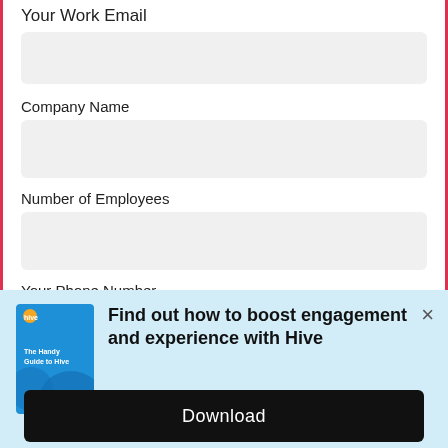Your Work Email
Company Name
Number of Employees
Your Phone Number
[Figure (screenshot): Popup banner with book cover for 'The Handy Guide to Hive' on a light blue background, with text 'Find out how to boost engagement and experience with Hive' and a close button (×)]
Download